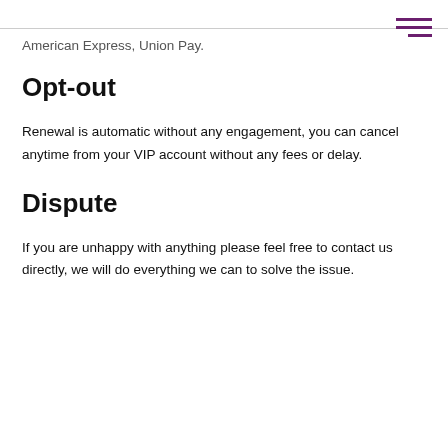American Express, Union Pay.
Opt-out
Renewal is automatic without any engagement, you can cancel anytime from your VIP account without any fees or delay.
Dispute
If you are unhappy with anything please feel free to contact us directly, we will do everything we can to solve the issue.